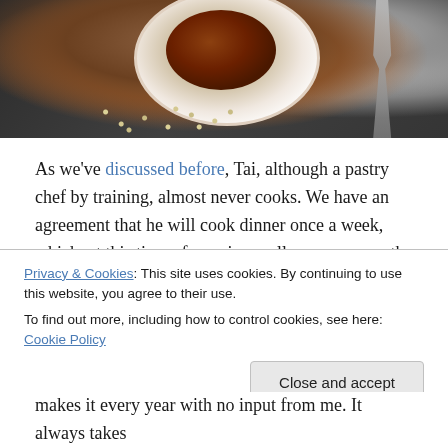[Figure (photo): Top-down photograph of a small white bowl containing dark sauce, scattered sesame seeds on a dark textured background, with an ornate spoon visible at the right edge]
As we've discussed before, Tai, although a pastry chef by training, almost never cooks. We have an agreement that he will cook dinner once a week,  which, at this time of year is usually sausages on the grill, with some grilled asparagus or kale, and he is an awesome sous chef, especially when I am preserving the harvest. He stirs, chops, lifts, pours and does dishes with the best of
Privacy & Cookies: This site uses cookies. By continuing to use this website, you agree to their use.
To find out more, including how to control cookies, see here: Cookie Policy
makes it every year with no input from me. It always takes